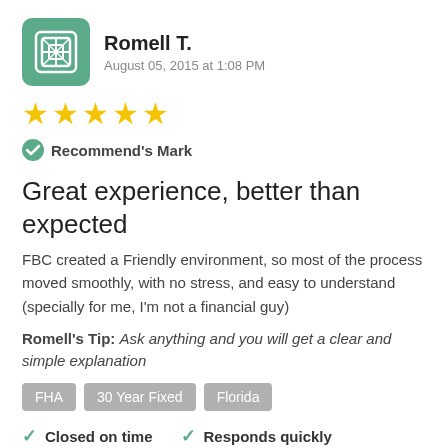[Figure (illustration): User avatar icon: teal/green rounded square with a decorative grid/lattice pattern inside]
Romell T.
August 05, 2015 at 1:08 PM
[Figure (illustration): Five gold star rating (5 stars)]
Recommend's Mark
Great experience, better than expected
FBC created a Friendly environment, so most of the process moved smoothly, with no stress, and easy to understand (specially for me, I'm not a financial guy)
Romell's Tip: Ask anything and you will get a clear and simple explanation
FHA  30 Year Fixed  Florida
Closed on time
Responds quickly
Loan met my needs